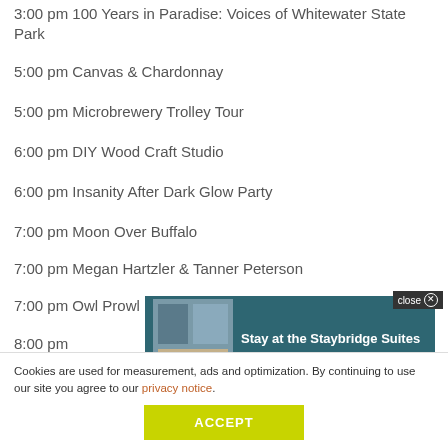3:00 pm 100 Years in Paradise: Voices of Whitewater State Park
5:00 pm Canvas & Chardonnay
5:00 pm Microbrewery Trolley Tour
6:00 pm DIY Wood Craft Studio
6:00 pm Insanity After Dark Glow Party
7:00 pm Moon Over Buffalo
7:00 pm Megan Hartzler & Tanner Peterson
7:00 pm Owl Prowl
8:00 pm
[Figure (screenshot): Advertisement overlay for Staybridge Suites extended stay hotel with room photo and 'close' button]
Cookies are used for measurement, ads and optimization. By continuing to use our site you agree to our privacy notice.
ACCEPT